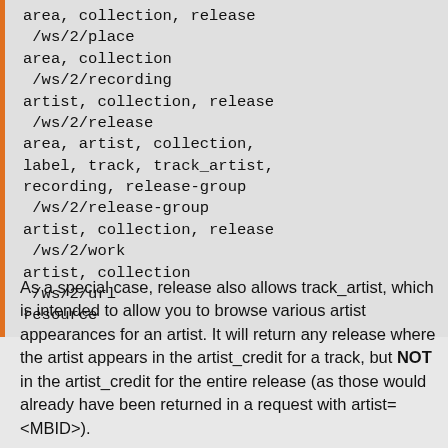area, collection, release
 /ws/2/place
area, collection
 /ws/2/recording
artist, collection, release
 /ws/2/release
area, artist, collection,
label, track, track_artist,
recording, release-group
 /ws/2/release-group
artist, collection, release
 /ws/2/work
artist, collection
 /ws/2/url
resource
As a special case, release also allows track_artist, which is intended to allow you to browse various artist appearances for an artist. It will return any release where the artist appears in the artist_credit for a track, but NOT in the artist_credit for the entire release (as those would already have been returned in a request with artist=<MBID>).
The URL endpoint's 'resource' entity is for providing a URL directly, rather than a URL MBID, for example